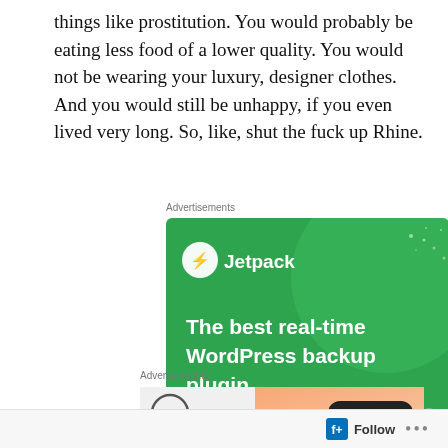things like prostitution. You would probably be eating less food of a lower quality. You would not be wearing your luxury, designer clothes. And you would still be unhappy, if you even lived very long. So, like, shut the fuck up Rhine.
[Figure (screenshot): Jetpack advertisement: green background with large circle graphic, Jetpack logo and name at top left, text reads 'The best real-time WordPress backup plugin', white button labeled 'Back up your site']
[Figure (screenshot): Second advertisement partially visible at bottom, showing a logo and a peach/orange gradient graphic with 'Learn more' button]